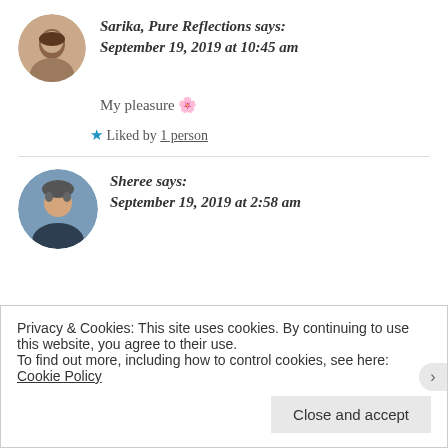[Figure (photo): Circular avatar photo of Sarika]
Sarika, Pure Reflections says: September 19, 2019 at 10:45 am
My pleasure 🌸
★ Liked by 1 person
[Figure (photo): Circular avatar photo of Sheree]
Sheree says: September 19, 2019 at 2:58 am
Privacy & Cookies: This site uses cookies. By continuing to use this website, you agree to their use. To find out more, including how to control cookies, see here: Cookie Policy
Close and accept